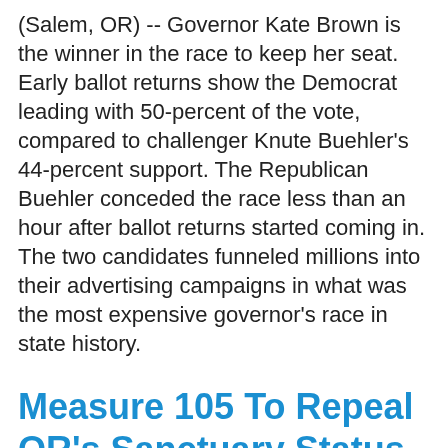(Salem, OR)  --  Governor Kate Brown is the winner in the race to keep her seat.  Early ballot returns show the Democrat leading with 50-percent of the vote, compared to challenger Knute Buehler's 44-percent support.  The Republican Buehler conceded the race less than an hour after ballot returns started coming in.  The two candidates funneled millions into their advertising campaigns in what was the most expensive governor's race in state history.
Measure 105 To Repeal OR's Sanctuary Status Failing
Posted About Four Years Ago by Metro Source Media Networks, Inc.
(Portland, OR)  --  Oregon appears set to remain a sanctuary state.  Early ballot returns show voters rejecting Measure 105 with 63-percent of the...